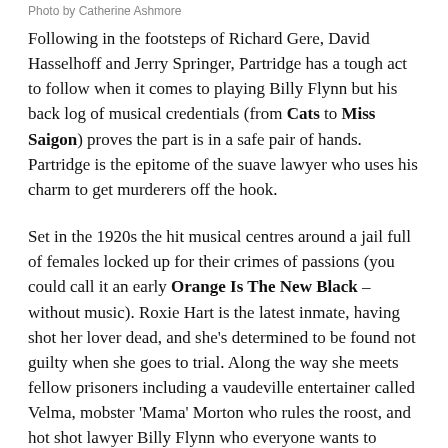Photo by Catherine Ashmore
Following in the footsteps of Richard Gere, David Hasselhoff and Jerry Springer, Partridge has a tough act to follow when it comes to playing Billy Flynn but his back log of musical credentials (from Cats to Miss Saigon) proves the part is in a safe pair of hands. Partridge is the epitome of the suave lawyer who uses his charm to get murderers off the hook.
Set in the 1920s the hit musical centres around a jail full of females locked up for their crimes of passions (you could call it an early Orange Is The New Black – without music). Roxie Hart is the latest inmate, having shot her lover dead, and she's determined to be found not guilty when she goes to trial. Along the way she meets fellow prisoners including a vaudeville entertainer called Velma, mobster 'Mama' Morton who rules the roost, and hot shot lawyer Billy Flynn who everyone wants to represent them. As relevant today as it was when it was wrote by Kander and Webb in 1975 the